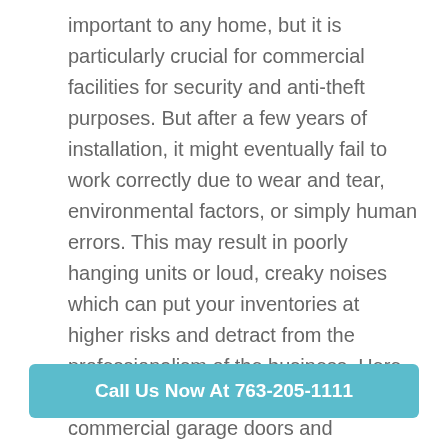important to any home, but it is particularly crucial for commercial facilities for security and anti-theft purposes. But after a few years of installation, it might eventually fail to work correctly due to wear and tear, environmental factors, or simply human errors. This may result in poorly hanging units or loud, creaky noises which can put your inventories at higher risks and detract from the professionalism of the business. Here are some common problems for commercial garage doors and suggested solutions to fix them.
Call Us Now At 763-205-1111